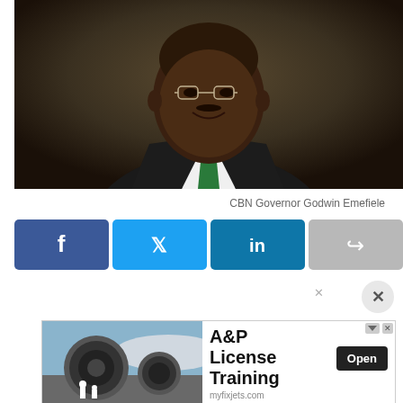[Figure (photo): Professional portrait of CBN Governor Godwin Emefiele wearing a black suit with a green tie, smiling, against a dark brown background]
CBN Governor Godwin Emefiele
[Figure (infographic): Social media sharing buttons: Facebook (blue), Twitter (light blue), LinkedIn (dark blue), Share (grey)]
[Figure (photo): Advertisement banner for A&P License Training from myfixjets.com, showing airplane engines with workers, with an Open button]